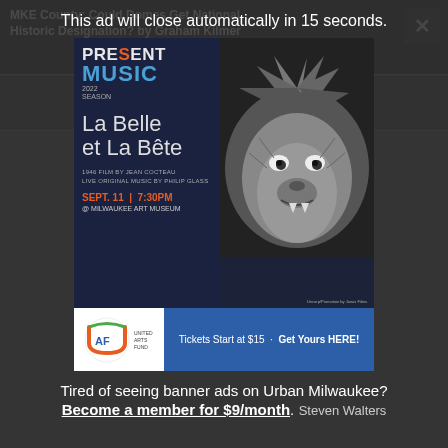MKE County: Could Domes Get National Historic Designation? by Graham Kilmer
New Event Venue For South Side by
This ad will close automatically in 15 seconds.
[Figure (illustration): Present Music 2022 Season advertisement for La Belle et La Bête. Dark blue background with black and white photo of beast face on right side. Left side text: PRESENT MUSIC 2022 SEASON, La Belle et La Bête, 1946 Film by Jean Cocteau, Live Original Music by Philip Glass, Sept. 11 | 7:30PM @ Milwaukee Art Museum. Bottom bar with URAF logo and blue banner: Tickets Start at $15 · Get Yours HERE!]
Tired of seeing banner ads on Urban Milwaukee? Become a member for $9/month.